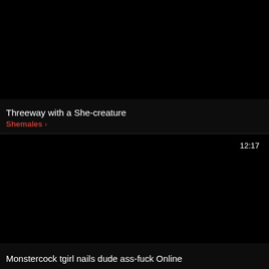[Figure (screenshot): Black thumbnail image for video card top]
Threeway with a She-creature
Shemales >
[Figure (screenshot): Black thumbnail image for video card bottom with duration badge 12:17]
12:17
Monstercock tgirl nails dude ass-fuck Online